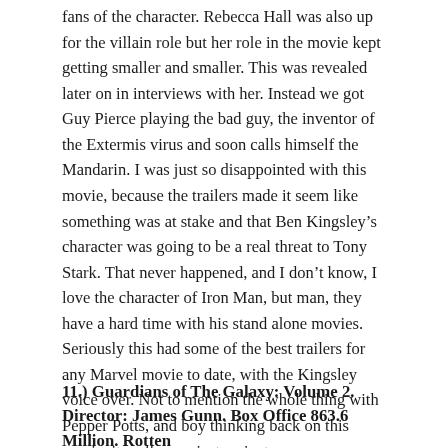fans of the character. Rebecca Hall was also up for the villain role but her role in the movie kept getting smaller and smaller. This was revealed later on in interviews with her. Instead we got Guy Pierce playing the bad guy, the inventor of the Extermis virus and soon calls himself the Mandarin. I was just so disappointed with this movie, because the trailers made it seem like something was at stake and that Ben Kingsley's character was going to be a real threat to Tony Stark. That never happened, and I don't know, I love the character of Iron Man, but man, they have a hard time with his stand alone movies. Seriously this had some of the best trailers for any Marvel movie to date, with the Kingsley voice over. Not to mention the whole thing with Pepper Potts, and boy thinking back on this movie, it really was just a giant mess.
11.) Guardians of The Galaxy: Volume 2. Director: James Gunn. Box Office 863.6 Million. Rotten